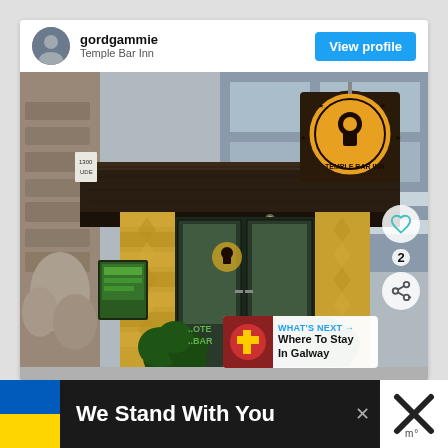gordgammie
Temple Bar Inn
View profile
[Figure (photo): Exterior photo of Temple Bar Inn showing ornate golden pillar facade, glass entrance doors, hanging sign with Temple Bar Inn logo (keyhole design), and decorative stone wall on left. Potted topiary bushes flank the entrance.]
2
WHAT'S NEXT → Where To Stay In Galway
We Stand With You